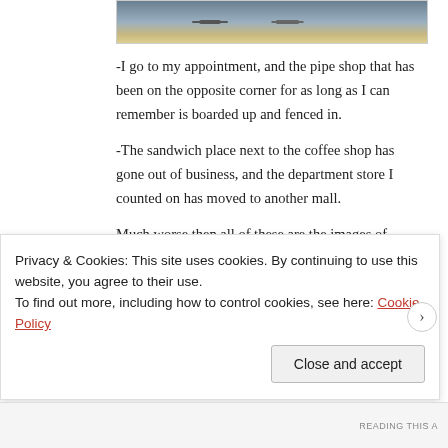[Figure (photo): Partial photo of people, cropped at top of page]
-I go to my appointment, and the pipe shop that has been on the opposite corner for as long as I can remember is boarded up and fenced in.
-The sandwich place next to the coffee shop has gone out of business, and the department store I counted on has moved to another mall.
Much worse then all of these are the images of destruction by mudslides of parts of  the sacred retreat center where I have gone so many years on
Privacy & Cookies: This site uses cookies. By continuing to use this website, you agree to their use.
To find out more, including how to control cookies, see here: Cookie Policy
Close and accept
READING THIS A